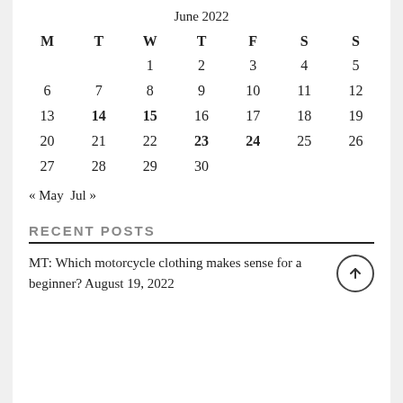June 2022
| M | T | W | T | F | S | S |
| --- | --- | --- | --- | --- | --- | --- |
|  |  | 1 | 2 | 3 | 4 | 5 |
| 6 | 7 | 8 | 9 | 10 | 11 | 12 |
| 13 | 14 | 15 | 16 | 17 | 18 | 19 |
| 20 | 21 | 22 | 23 | 24 | 25 | 26 |
| 27 | 28 | 29 | 30 |  |  |  |
« May  Jul »
RECENT POSTS
MT: Which motorcycle clothing makes sense for a beginner? August 19, 2022